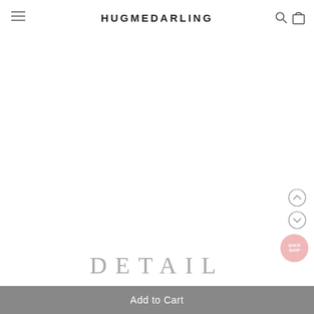HUGMEDARLING
[Figure (other): Large white empty product image area]
DETAIL
Add to Cart